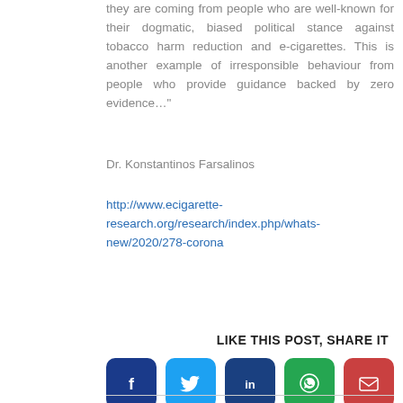they are coming from people who are well-known for their dogmatic, biased political stance against tobacco harm reduction and e-cigarettes. This is another example of irresponsible behaviour from people who provide guidance backed by zero evidence…"
Dr. Konstantinos Farsalinos
http://www.ecigarette-research.org/research/index.php/whats-new/2020/278-corona
LIKE THIS POST, SHARE IT
[Figure (infographic): Row of five social media share buttons: Facebook (dark blue), Twitter (light blue), LinkedIn (dark blue), WhatsApp (green), Email (red), each with respective icon]